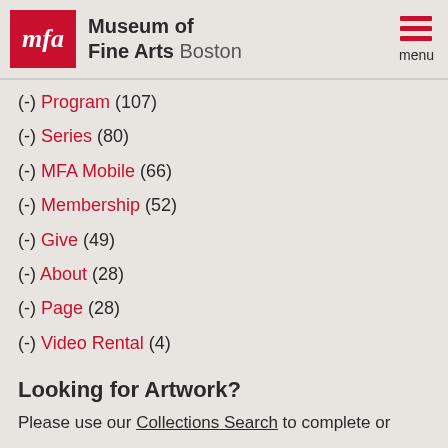Museum of Fine Arts Boston
(-) Program (107)
(-) Series (80)
(-) MFA Mobile (66)
(-) Membership (52)
(-) Give (49)
(-) About (28)
(-) Page (28)
(-) Video Rental (4)
Looking for Artwork?
Please use our Collections Search to complete or